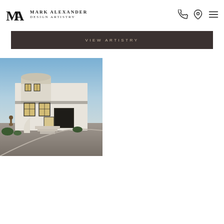MARK ALEXANDER DESIGN ARTISTRY
VIEW ARTISTRY
[Figure (photo): Modern luxury white multi-story residential home with curved architectural elements, large windows with black frames, entry stairs with curved white walls, bronze sculpture near entrance, photographed at dusk/twilight with interior lights on]